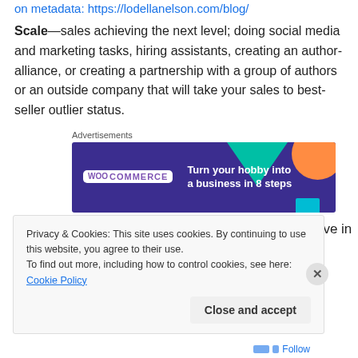on metadata: https://lodellanelson.com/blog/
Scale—sales achieving the next level; doing social media and marketing tasks, hiring assistants, creating an author-alliance, or creating a partnership with a group of authors or an outside company that will take your sales to best-seller outlier status.
Advertisements
[Figure (other): WooCommerce advertisement banner: dark purple background with teal triangle, orange circle, and cyan bar decorative shapes. Text reads 'WOO COMMERCE' in white box on left, and 'Turn your hobby into a business in 8 steps' on right.]
An Overview
The NINC conference was impressive in
Privacy & Cookies: This site uses cookies. By continuing to use this website, you agree to their use.
To find out more, including how to control cookies, see here: Cookie Policy
Close and accept